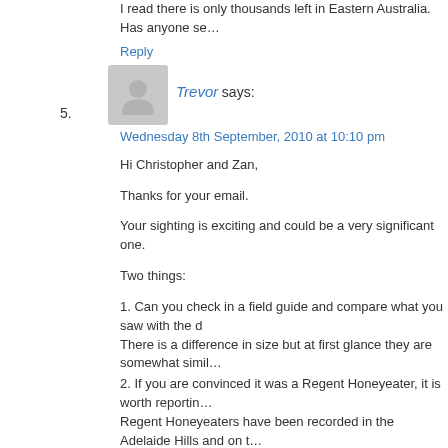I read there is only thousands left in Eastern Australia. Has anyone se…
Reply
Trevor says:
Wednesday 8th September, 2010 at 10:10 pm
Hi Christopher and Zan,
Thanks for your email.
Your sighting is exciting and could be a very significant one.
Two things:
1. Can you check in a field guide and compare what you saw with the d… There is a difference in size but at first glance they are somewhat simil…
2. If you are convinced it was a Regent Honeyeater, it is worth reportin… Regent Honeyeaters have been recorded in the Adelaide Hills and on t… sightings in decades. You should report your sighting to Birds SA http://www.birdssa.asn.au/index.htm Go to the contacts page where there are email links and phone numbe… me can then deal with the details.
Sometimes rare sightings are aviary escapees but that is unlikely with… very few are kept in captivity. I do know that both the Adelaide Zoo anc…
Hope this helps…